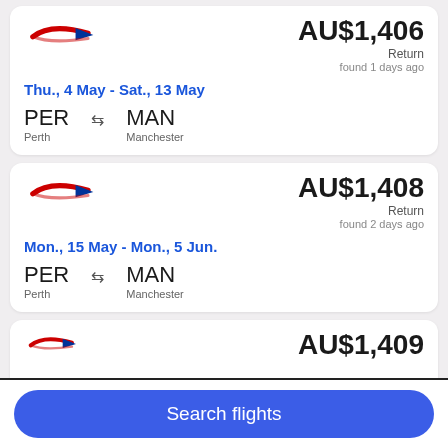[Figure (logo): British Airways logo (red and blue speedmarque)]
AU$1,406
Return
found 1 days ago
Thu., 4 May - Sat., 13 May
PER Perth ⇆ MAN Manchester
[Figure (logo): British Airways logo (red and blue speedmarque)]
AU$1,408
Return
found 2 days ago
Mon., 15 May - Mon., 5 Jun.
PER Perth ⇆ MAN Manchester
AU$1,409
Search flights